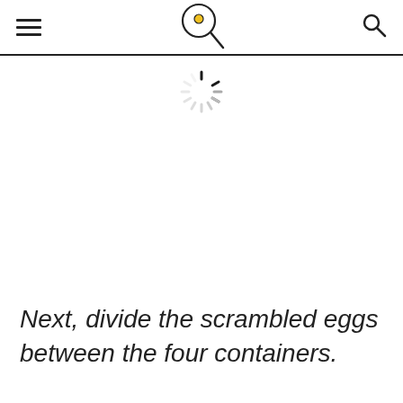[Figure (illustration): Loading spinner icon in the upper body area of a recipe webpage]
Next, divide the scrambled eggs between the four containers.